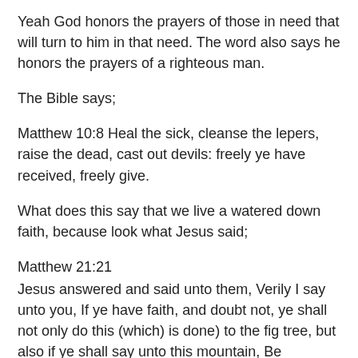Yeah God honors the prayers of those in need that will turn to him in that need. The word also says he honors the prayers of a righteous man.
The Bible says;
Matthew 10:8 Heal the sick, cleanse the lepers, raise the dead, cast out devils: freely ye have received, freely give.
What does this say that we live a watered down faith, because look what Jesus said;
Matthew 21:21
Jesus answered and said unto them, Verily I say unto you, If ye have faith, and doubt not, ye shall not only do this (which) is done) to the fig tree, but also if ye shall say unto this mountain, Be